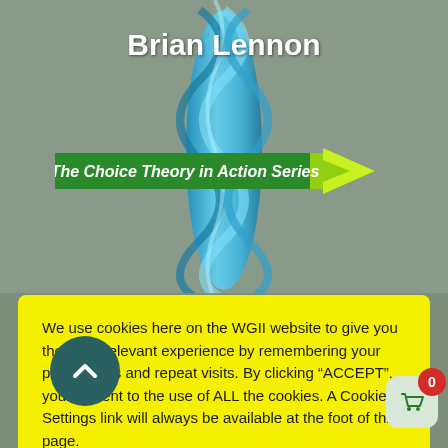[Figure (screenshot): Book cover banner showing 'Brian Lennon' in white bold text on gray background with blue twisted rope in center and a green arrow banner reading 'The Choice Theory in Action Series' in italic white text]
We use cookies here on the WGII website to give you the most relevant experience by remembering your preferences and repeat visits. By clicking “ACCEPT”, you consent to the use of ALL the cookies. A Cookie Settings link will always be available at the foot of this page.
Cookie settings  ACCEPT
CONTACT WGII
Mobile: 087 2259569
Outside Republic of Ireland: +353 87 2259569